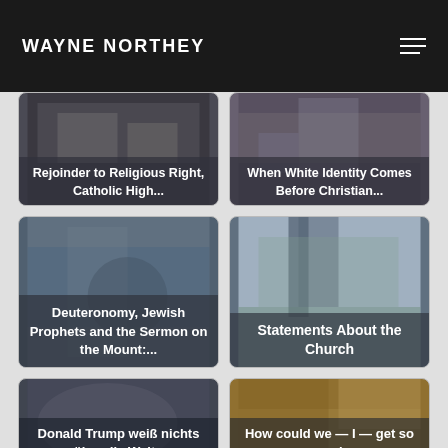WAYNE NORTHEY
[Figure (screenshot): Card with image: McElmurre's Rejoinder to Religious Right, Catholic High...]
[Figure (screenshot): Card with image: When White Identity Comes Before Christian...]
[Figure (screenshot): Card with image: Deuteronomy, Jewish Prophets and the Sermon on the Mount:...]
[Figure (screenshot): Card with image: Statements About the Church]
[Figure (screenshot): Card with image: Donald Trump weiß nichts über die Welt -]
[Figure (screenshot): Card with image: How could we — I — get so much]